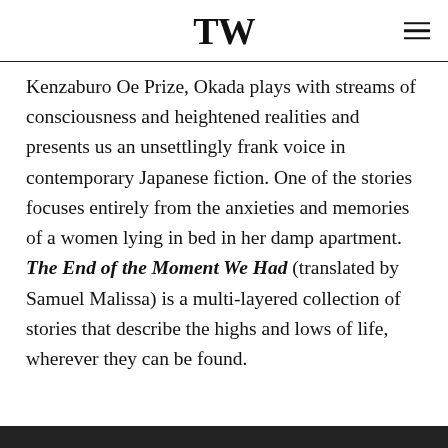TW
Kenzaburo Oe Prize, Okada plays with streams of consciousness and heightened realities and presents us an unsettlingly frank voice in contemporary Japanese fiction. One of the stories focuses entirely from the anxieties and memories of a women lying in bed in her damp apartment. The End of the Moment We Had (translated by Samuel Malissa) is a multi-layered collection of stories that describe the highs and lows of life, wherever they can be found.
[Figure (photo): Dark/black bar at bottom of page]